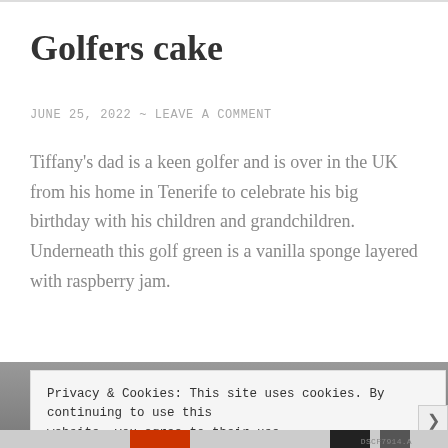Golfers cake
JUNE 25, 2022  ~  LEAVE A COMMENT
Tiffany's dad is a keen golfer and is over in the UK from his home in Tenerife to celebrate his big birthday with his children and grandchildren. Underneath this golf green is a vanilla sponge layered with raspberry jam.
[Figure (photo): Partial view of a golf-themed cake image, cropped, with grey and color strip at bottom]
Privacy & Cookies: This site uses cookies. By continuing to use this website, you agree to their use.
To find out more, including how to control cookies, see here: Cookie Policy
Close and accept